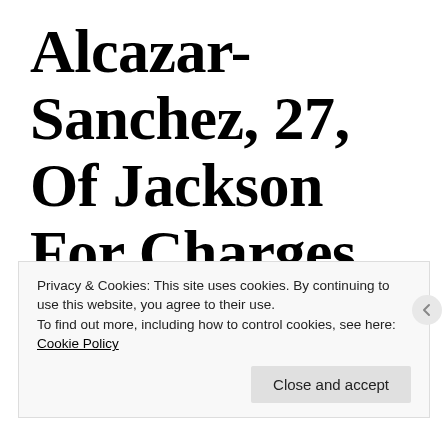Alcazar-Sanchez, 27, Of Jackson For Charges In Involving Fatal Crash
Privacy & Cookies: This site uses cookies. By continuing to use this website, you agree to their use.
To find out more, including how to control cookies, see here: Cookie Policy
Close and accept